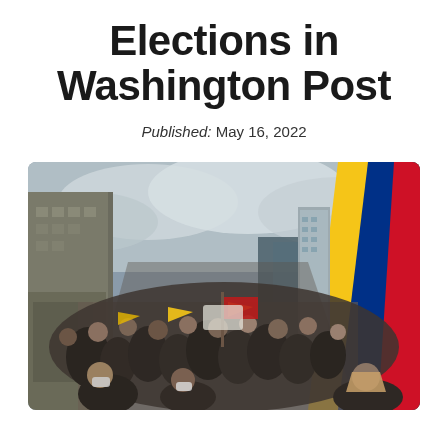Elections in Washington Post
Published: May 16, 2022
[Figure (photo): A large crowd marching in a city street carrying Colombian flags (yellow, blue, red) and red flags. Buildings and a tall skyscraper are visible in the background under overcast skies. People wear masks.]